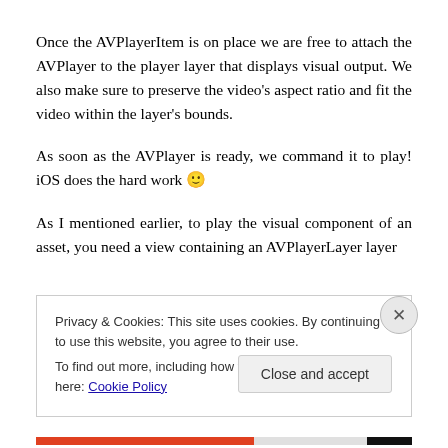Once the AVPlayerItem is on place we are free to attach the AVPlayer to the player layer that displays visual output. We also make sure to preserve the video's aspect ratio and fit the video within the layer's bounds.
As soon as the AVPlayer is ready, we command it to play! iOS does the hard work 🙂
As I mentioned earlier, to play the visual component of an asset, you need a view containing an AVPlayerLayer layer
Privacy & Cookies: This site uses cookies. By continuing to use this website, you agree to their use.
To find out more, including how to control cookies, see here: Cookie Policy
Close and accept